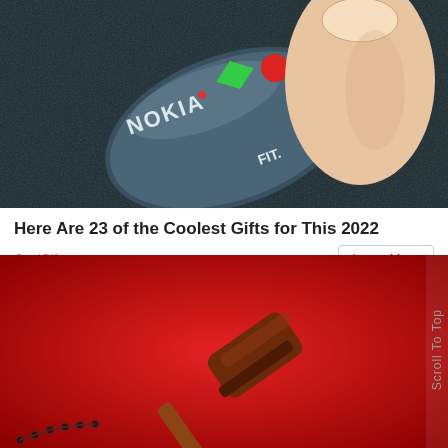[Figure (photo): Close-up photo of a Nokia FIT device (small electronic gadget) being held by a thumb, showing green and red buttons on a dark textured background.]
Here Are 23 of the Coolest Gifts for This 2022
CoolGifts
Learn More
[Figure (photo): Photo of a wooden judge's gavel on a bright red background, with a chain/rosary visible at the bottom left.]
Scroll To Top